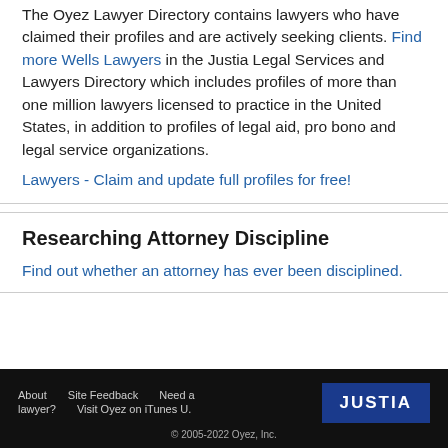The Oyez Lawyer Directory contains lawyers who have claimed their profiles and are actively seeking clients. Find more Wells Lawyers in the Justia Legal Services and Lawyers Directory which includes profiles of more than one million lawyers licensed to practice in the United States, in addition to profiles of legal aid, pro bono and legal service organizations.
Lawyers - Claim and update full profiles for free!
Researching Attorney Discipline
Find out whether an attorney has ever been disciplined.
About lawyer? Site Feedback Need a lawyer? Visit Oyez on iTunes U. JUSTIA © 2005-2022 Oyez, Inc.